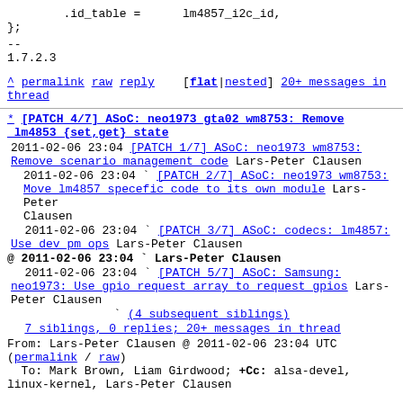.id_table =      lm4857_i2c_id,
};
--
1.7.2.3
^ permalink raw reply  [flat|nested] 20+ messages in thread
* [PATCH 4/7] ASoC: neo1973 gta02 wm8753: Remove lm4853 {set,get} state
2011-02-06 23:04 [PATCH 1/7] ASoC: neo1973 wm8753: Remove scenario management code Lars-Peter Clausen
2011-02-06 23:04 ` [PATCH 2/7] ASoC: neo1973 wm8753: Move lm4857 specefic code to its own module Lars-Peter Clausen
2011-02-06 23:04 ` [PATCH 3/7] ASoC: codecs: lm4857: Use dev pm ops Lars-Peter Clausen
@ 2011-02-06 23:04 ` Lars-Peter Clausen
2011-02-06 23:04 ` [PATCH 5/7] ASoC: Samsung: neo1973: Use gpio request array to request gpios Lars-Peter Clausen
(4 subsequent siblings)
7 siblings, 0 replies; 20+ messages in thread
From: Lars-Peter Clausen @ 2011-02-06 23:04 UTC (permalink / raw)
To: Mark Brown, Liam Girdwood; +Cc: alsa-devel, linux-kernel, Lars-Peter Clausen